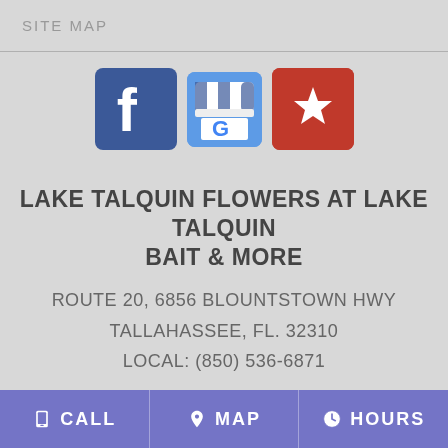SITE MAP
[Figure (logo): Three social media icons: Facebook (blue square with white f), Google My Business (blue striped awning store with G), and Yelp (red square with white burst logo)]
LAKE TALQUIN FLOWERS AT LAKE TALQUIN BAIT & MORE
ROUTE 20, 6856 BLOUNTSTOWN HWY
TALLAHASSEE, FL. 32310
LOCAL: (850) 536-6871
ALL PRICES SHOWN IN US DOLLARS
CALL   MAP   HOURS